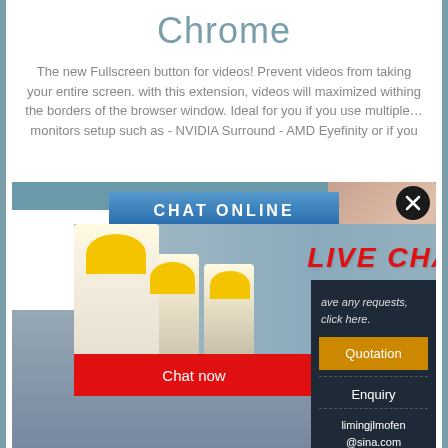Chrome
The new Fullscreen button for videos! Prevent videos from taking your entire screen. with this extension, videos will maximized withing the borders of the browser window. Ideal for you if you use multiple… monitors setup such as - NVIDIA Surround - AMD Eyefinity or if you
[Figure (screenshot): Chat Online popup banner with blue gradient background and white bold text 'CHAT ONLINE'. Below it a live chat popup showing workers in yellow hard hats, 'LIVE CHAT' text in red italic, 'Click for a Free Consultation', Chat now (red) and Chat later (dark gray) buttons. To the right a customer service lady with headset. A right sidebar on dark background shows 'ave any requests, click here.', a gold Quotation button, Enquiry link, and email limingjlmofen@sina.com. Background shows industrial machinery with LIMING text. A black circle close button with X in top right.]